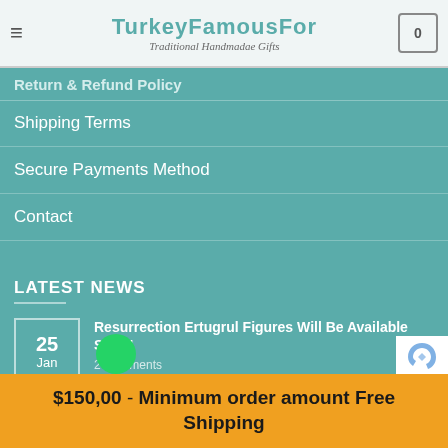TurkeyFamousFor Traditional Handmade Gifts
Return & Refund Policy
Shipping Terms
Secure Payments Method
Contact
LATEST NEWS
25 Jan — Resurrection Ertugrul Figures Will Be Available Soon! — 2 Comments
28 — Wondering about Awakening Great Seljuk Series — Comments
$150,00 - Minimum order amount Free Shipping